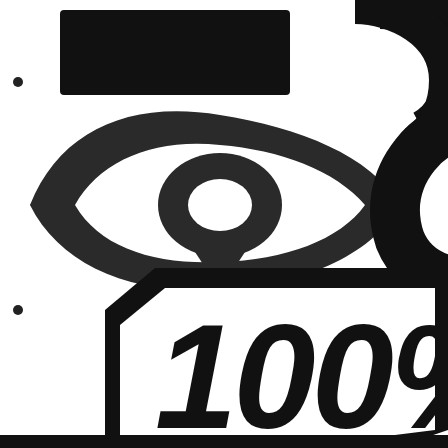[Figure (logo): Close-up crop of two logos: upper portion shows a stylized eye icon (resembling the Troy Lee Designs or similar motocross brand eye logo) in dark gray/black, and partially visible circular logo to the right. Lower portion shows the '100%' brand logo in bold black italic text inside a hexagonal/rectangular border outline, cropped at right edge. Two small bullet points visible on the left side.]